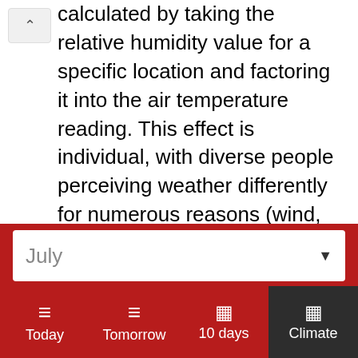calculated by taking the relative humidity value for a specific location and factoring it into the air temperature reading. This effect is individual, with diverse people perceiving weather differently for numerous reasons (wind, metabolic differences, pregnancy), and activity. Bear in mind that direct sunshine exposure increases weather impact, and may raise heat index by up to 15 Fahrenheit (8 Celsius) degrees. Heat index values are especially crucial for babies and toddlers. Young children are generally more endangered than adults, as they
July
Today
Tomorrow
10 days
Climate